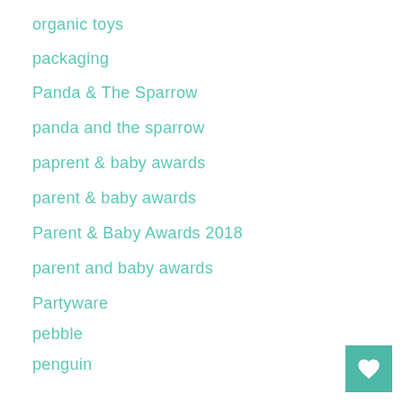organic toys
packaging
Panda & The Sparrow
panda and the sparrow
paprent & baby awards
parent & baby awards
Parent & Baby Awards 2018
parent and baby awards
Partyware
pebble
penguin
peter pan
petra boase